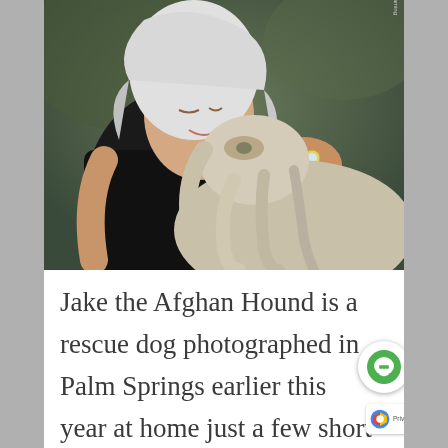[Figure (photo): An elderly woman with silver-white hair wearing a black top leans in close to nuzzle an Afghan Hound dog, which also has long silver-white flowing hair. The woman wears a large diamond ring. Warm and intimate moment photographed outdoors.]
Jake the Afghan Hound is a rescue dog photographed in Palm Springs earlier this year at home just a few short months after he was adopted by his mom. They